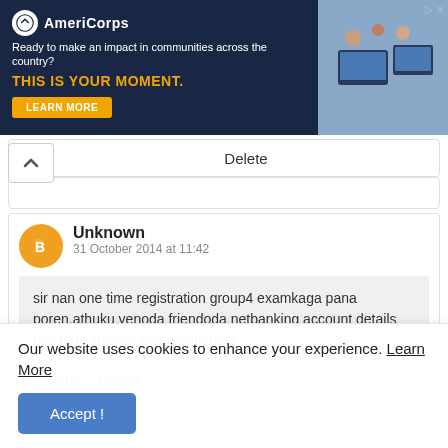[Figure (screenshot): AmeriCorps advertisement banner with dark blue background. Logo and text: 'Ready to make an impact in communities across the country? THIS IS YOUR MOMENT.' with a LEARN MORE button and a photo of people at computers on the right.]
Delete
Unknown
31 October 2014 at 11:42
sir nan one time registration group4 examkaga pana poren,athuku yenoda friendoda netbanking account details use pani amount pay panalama?
Reply   Delete
Our website uses cookies to enhance your experience. Learn More
Accept !